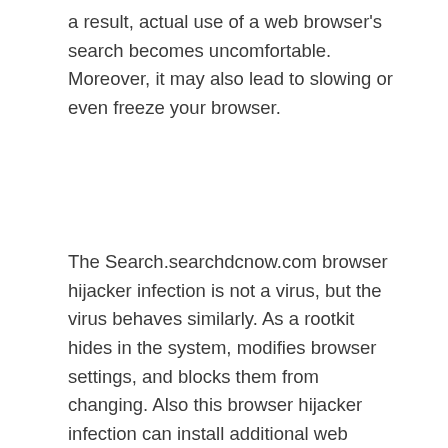a result, actual use of a web browser's search becomes uncomfortable. Moreover, it may also lead to slowing or even freeze your browser.
The Search.searchdcnow.com browser hijacker infection is not a virus, but the virus behaves similarly. As a rootkit hides in the system, modifies browser settings, and blocks them from changing. Also this browser hijacker infection can install additional web browser addons, extensions and modules that will show ads and popups. And finally, the Search.searchdcnow.com infection can